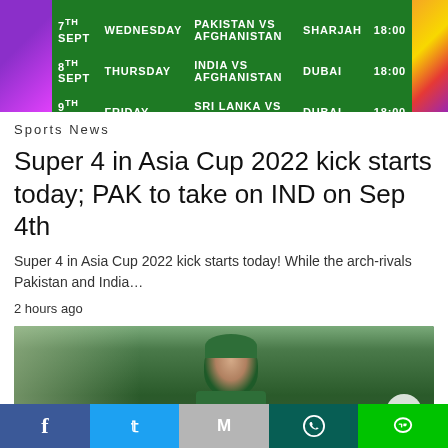[Figure (table-as-image): Asia Cup 2022 schedule banner on green background showing match schedule: 7th Sept Wednesday Pakistan vs Afghanistan Sharjah 18:00; 8th Sept Thursday India vs Afghanistan Dubai 18:00; 9th Sept Friday Sri Lanka vs Pakistan Dubai 18:00]
Sports News
Super 4 in Asia Cup 2022 kick starts today; PAK to take on IND on Sep 4th
Super 4 in Asia Cup 2022 kick starts today! While the arch-rivals Pakistan and India…
2 hours ago
[Figure (photo): Cricket player in green Pakistan jersey and cap, wearing ICC logo on uniform, blurred crowd background]
Facebook | Twitter | Gmail | WhatsApp | Line (social share bar)